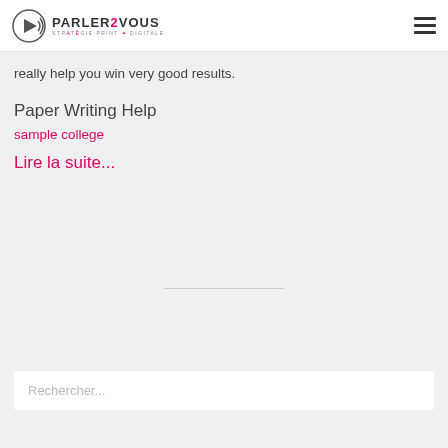PARLER2VOUS STRATÉGIE PRINT & DIGITALE
really help you win very good results.
Paper Writing Help
sample college
Lire la suite...
Rechercher...